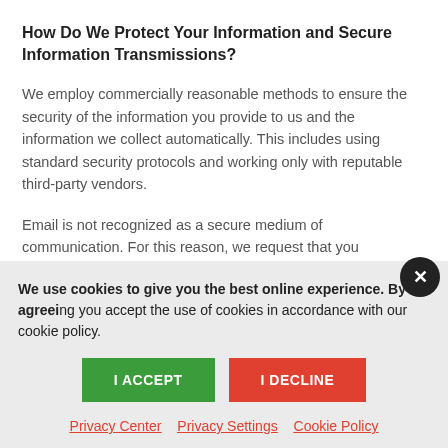How Do We Protect Your Information and Secure Information Transmissions?
We employ commercially reasonable methods to ensure the security of the information you provide to us and the information we collect automatically. This includes using standard security protocols and working only with reputable third-party vendors.
Email is not recognized as a secure medium of communication. For this reason, we request that you...
We use cookies to give you the best online experience. By agreeing you accept the use of cookies in accordance with our cookie policy.
I ACCEPT
I DECLINE
Privacy Center   Privacy Settings   Cookie Policy